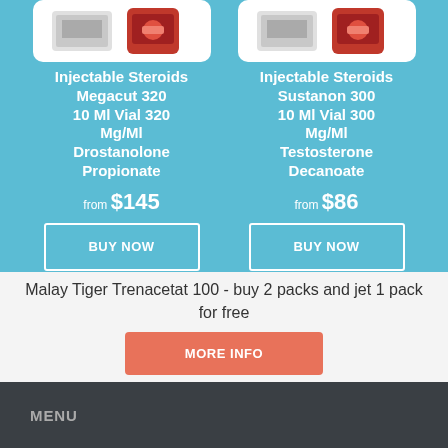[Figure (photo): Product image of Injectable Steroids Megacut 320 in a white card]
Injectable Steroids Megacut 320 10 Ml Vial 320 Mg/Ml Drostanolone Propionate
from $145
BUY NOW
[Figure (photo): Product image of Injectable Steroids Sustanon 300 in a white card]
Injectable Steroids Sustanon 300 10 Ml Vial 300 Mg/Ml Testosterone Decanoate
from $86
BUY NOW
Malay Tiger Trenacetat 100 - buy 2 packs and jet 1 pack for free
MORE INFO
MENU